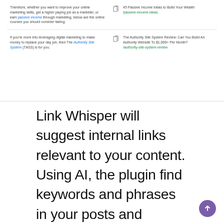[Figure (screenshot): Screenshot of a website table/list showing two rows: one about '45 Passive Income Ideas to Build Your Wealth' with link /passive-income-ideas, and one about 'The Authority Site System Review: Can You Build An Authority Website To $1,000+ Per Month?' with link /authority-site-system-review]
Link Whisper will suggest internal links relevant to your content. Using AI, the plugin find keywords and phrases in your posts and comments with matching pages, posts, categories and tags on your website.
However, it's typically a better idea to use the premium version of any of the plugins, especially if you have tons of